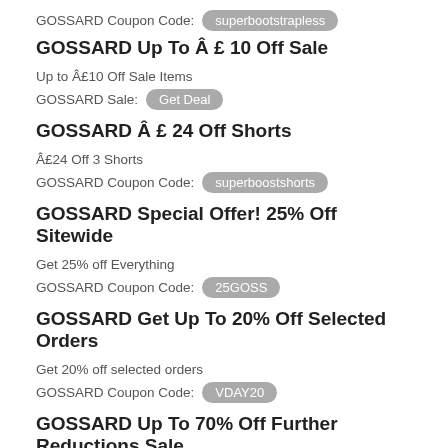GOSSARD Coupon Code: superbootstrapless
GOSSARD Up To Â £ 10 Off Sale
Up to Â£10 Off Sale Items
GOSSARD Sale: Get Deal
GOSSARD Â £ 24 Off Shorts
Â£24 Off 3 Shorts
GOSSARD Coupon Code: superboostshorts
GOSSARD Special Offer! 25% Off Sitewide
Get 25% off Everything
GOSSARD Coupon Code: 25GOSS
GOSSARD Get Up To 20% Off Selected Orders
Get 20% off selected orders
GOSSARD Coupon Code: VDAY20
GOSSARD Up To 70% Off Further Reductions Sale